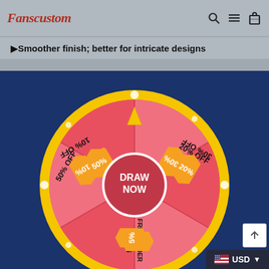Fanscustom
▶ Smoother finish; better for intricate designs
[Figure (infographic): A prize wheel (spin wheel) with red and yellow segments. Segments labeled: 50% OFF, 20% OFF, FREE ORDER, 10% OFF, 30% OFF, 5% OFF. Center button reads DRAW NOW. Orange tag icons on each segment. Yellow triangle pointer at top.]
USD